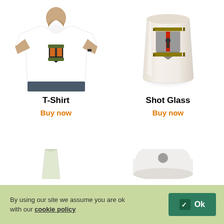[Figure (photo): White t-shirt worn by a man, with a shield/crest logo on the chest]
[Figure (photo): White ceramic shot glass with a shield/crest logo on it]
T-Shirt
Buy now
Shot Glass
Buy now
[Figure (photo): Partial view of a bottle at bottom left]
[Figure (photo): Partial view of a white cap/hat at bottom right]
By using our site we assume you are ok with our cookie policy